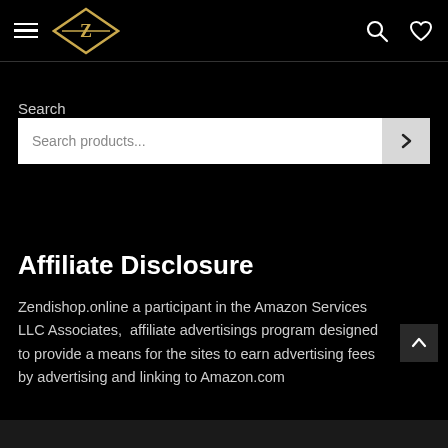Navigation header with hamburger menu, Z logo, search icon, and heart icon
Search
Search products...
Affiliate Disclosure
Zendishop.online a participant in the Amazon Services LLC Associates,  affiliate advertisings program designed to provide a means for the sites to earn advertising fees by advertising and linking to Amazon.com